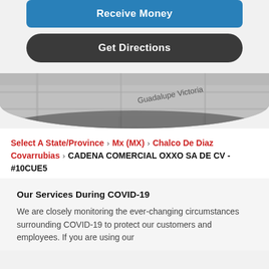[Figure (other): Blue 'Receive Money' button]
[Figure (other): Dark 'Get Directions' button]
[Figure (map): Partial map view showing street name 'Guadalupe Victoria' in a rounded card panel with dark overlay]
Select A State/Province > Mx (MX) > Chalco De Diaz Covarrubias > CADENA COMERCIAL OXXO SA DE CV - #10CUE5
Our Services During COVID-19
We are closely monitoring the ever-changing circumstances surrounding COVID-19 to protect our customers and employees. If you are using our